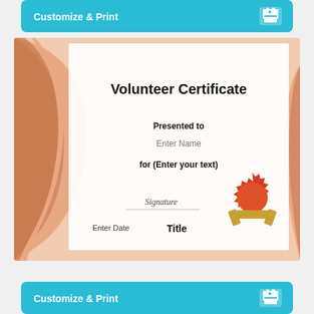[Figure (screenshot): Cyan/teal 'Customize & Print' button bar at top with printer icon on right]
[Figure (illustration): Volunteer Certificate template with brownish-orange decorative swoosh on left and right, white center area. Contains title 'Volunteer Certificate', 'Presented to', 'Enter Name', 'for (Enter your text)', Signature line, 'Enter Date', 'Title', and a red wax seal with gold ribbon at bottom right.]
[Figure (screenshot): Cyan/teal 'Customize & Print' button bar at bottom with printer icon on right]